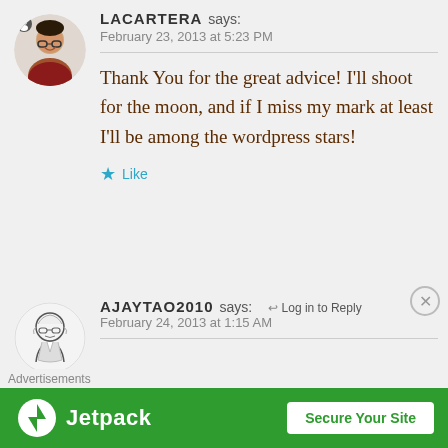[Figure (photo): Circular avatar photo of user LACARTERA, a woman wearing glasses and a red top, smiling]
LACARTERA says:
February 23, 2013 at 5:23 PM
Thank You for the great advice! I'll shoot for the moon, and if I miss my mark at least I'll be among the wordpress stars!
Like
[Figure (illustration): Circular avatar illustration of user AJAYTAO2010, a sketch/drawing of a bald man with glasses]
AJAYTAO2010 says:
Log in to Reply
February 24, 2013 at 1:15 AM
Advertisements
[Figure (screenshot): Jetpack advertisement banner with green background, Jetpack logo on left and 'Secure Your Site' button on right]